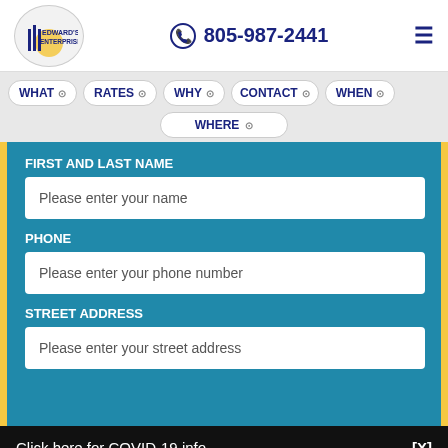[Figure (logo): Edward's Enterprises company logo in oval shape]
805-987-2441
WHAT
RATES
WHY
CONTACT
WHEN
WHERE
FIRST AND LAST NAME
Please enter your name
PHONE
Please enter your phone number
STREET ADDRESS
Please enter your street address
Click here for COVID-19 info.  [X]